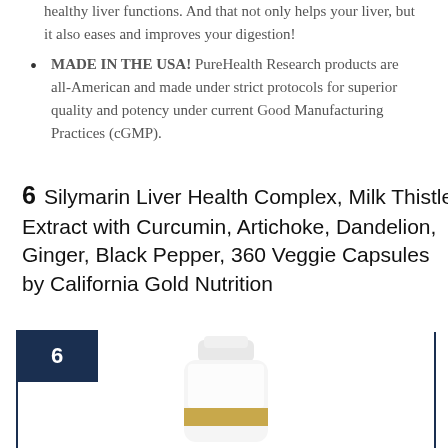healthy liver functions. And that not only helps your liver, but it also eases and improves your digestion!
MADE IN THE USA! PureHealth Research products are all-American and made under strict protocols for superior quality and potency under current Good Manufacturing Practices (cGMP).
6   Silymarin Liver Health Complex, Milk Thistle Extract with Curcumin, Artichoke, Dandelion, Ginger, Black Pepper, 360 Veggie Capsules by California Gold Nutrition
[Figure (photo): White supplement bottle with a gold stripe label, shown inside a dark navy bordered box with a '6' badge in the top-left corner.]